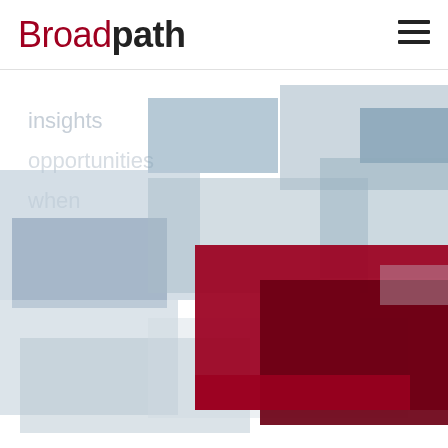[Figure (logo): Broadpath company logo with 'Broad' in dark/black and 'path' in dark red/crimson color]
[Figure (illustration): Abstract geometric illustration of overlapping translucent rectangles in shades of blue-grey and two prominent dark red/crimson rectangles in the center-right area, suggesting depth and layering. Some faint text visible behind rectangles including words like 'insights', 'opportunities', 'when'.]